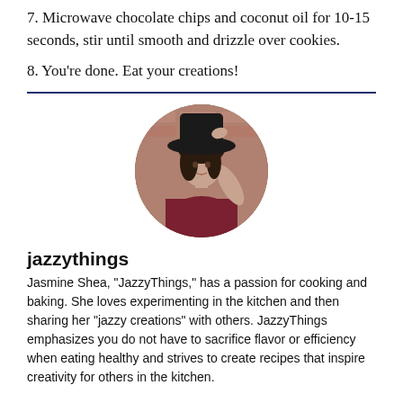7. Microwave chocolate chips and coconut oil for 10-15 seconds, stir until smooth and drizzle over cookies.
8. You're done. Eat your creations!
[Figure (photo): Circular portrait photo of a young woman wearing a dark wide-brim hat and a burgundy top, standing in front of a brick wall.]
jazzythings
Jasmine Shea, "JazzyThings," has a passion for cooking and baking. She loves experimenting in the kitchen and then sharing her "jazzy creations" with others. JazzyThings emphasizes you do not have to sacrifice flavor or efficiency when eating healthy and strives to create recipes that inspire creativity for others in the kitchen.